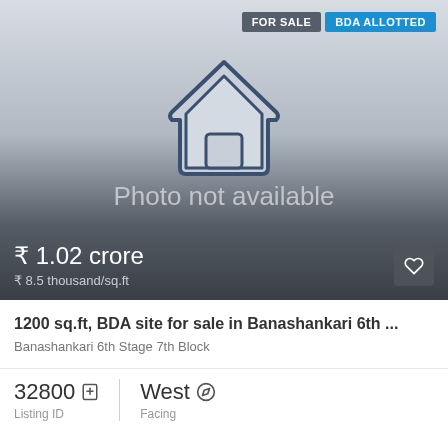[Figure (illustration): Property listing card with 'Photo not available' placeholder showing a house outline icon on a gradient gray background]
FOR SALE
BDA ALLOTTED
Photo not available
₹ 1.02 crore
₹ 8.5 thousand/sq.ft
1200 sq.ft, BDA site for sale in Banashankari 6th ...
Banashankari 6th Stage 7th Block
32800
Listing ID
West
Facing